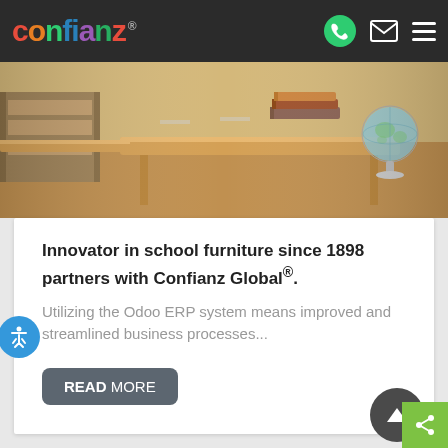[Figure (logo): Confianz logo in colorful letters on dark navbar with phone, mail, and menu icons]
[Figure (photo): School classroom photo showing wooden desks, stacked books and a globe]
Innovator in school furniture since 1898 partners with Confianz Global®.
Utilizing the Odoo ERP system means improved and streamlined business processes...
READ MORE